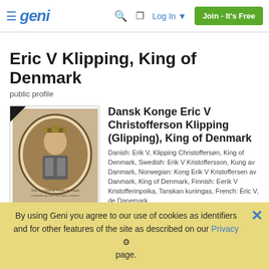Geni — Log In | Join - It's Free
Eric V Klipping, King of Denmark
public profile
[Figure (photo): Historical engraved portrait of Eric V Klipping, King of Denmark, shown wearing a crown and armor, in an oval frame with Latin text]
Dansk Konge Eric V Christofferson Klipping (Glipping), King of Denmark
Danish: Erik V, Klipping Christoffersøn, King of Denmark, Swedish: Erik V Kristoffersson, Kung av Danmark, Norwegian: Kong Erik V Kristoffersen av Danmark, King of Denmark, Finnish: Eerik V Kristofferinpoika, Tanskan kuningas, French: Éric V, de Danemark
Also Known As: "Erik Klipping", "Erik Glipping"
Birthdate: 1249
By using Geni you agree to our use of cookies as identifiers and for other features of the site as described on our Privacy page.